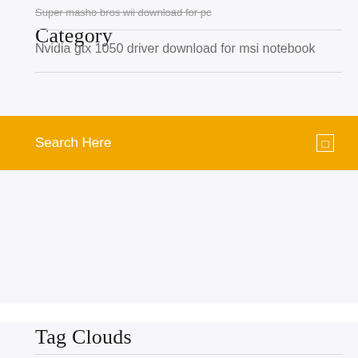Category
Super masho bros wii download for pc
Nvidia gtx 1050 driver download for msi notebook
Tag Clouds